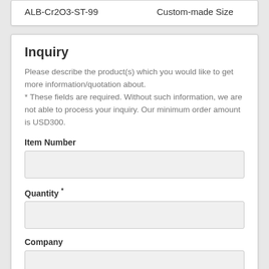| Item Number | Size |
| --- | --- |
| ALB-Cr2O3-ST-99 | Custom-made Size |
Inquiry
Please describe the product(s) which you would like to get more information/quotation about.
* These fields are required. Without such information, we are not able to process your inquiry. Our minimum order amount is USD300.
Item Number
Quantity *
Company